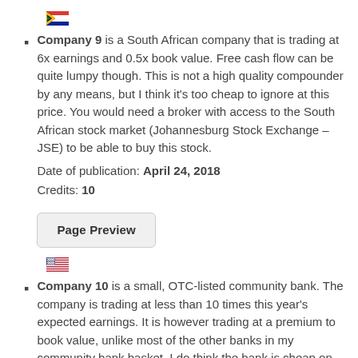[Figure (illustration): South African flag emoji]
Company 9 is a South African company that is trading at 6x earnings and 0.5x book value. Free cash flow can be quite lumpy though. This is not a high quality compounder by any means, but I think it's too cheap to ignore at this price. You would need a broker with access to the South African stock market (Johannesburg Stock Exchange – JSE) to be able to buy this stock.
Date of publication: April 24, 2018
Credits: 10
Page Preview
[Figure (illustration): US flag emoji]
Company 10 is a small, OTC-listed community bank. The company is trading at less than 10 times this year's expected earnings. It is however trading at a premium to book value, unlike most of the other banks in my community bank basket. I do think the bank is cheap on an earnings basis and I've found very few banks trading at a comparable earnings multiple. I believe there is a